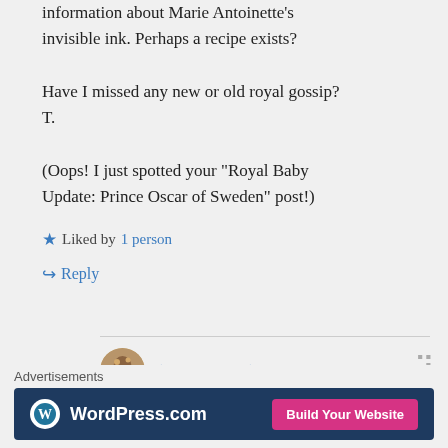information about Marie Antoinette’s invisible ink. Perhaps a recipe exists?

Have I missed any new or old royal gossip? T.

(Oops! I just spotted your “Royal Baby Update: Prince Oscar of Sweden” post!)
★ Liked by 1 person
↪ Reply
⚘ la dauphiine ⚘ on 10/03/2016 at at
Advertisements
[Figure (screenshot): WordPress.com advertisement banner with blue background, WordPress logo and 'Build Your Website' pink button]